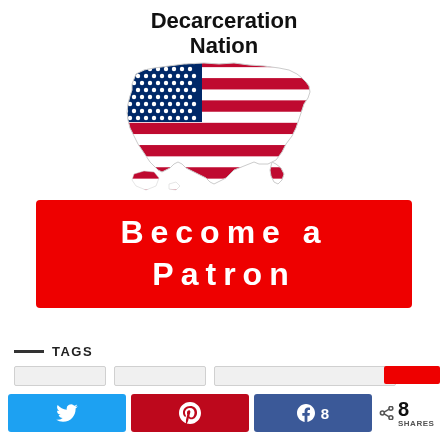Decarceration Nation
[Figure (illustration): USA map shape filled with American flag pattern (stars and stripes) in red, white, and blue]
[Figure (infographic): Red banner button with white bold spaced text reading 'Become a Patron']
TAGS
[Figure (infographic): Social share buttons row: Twitter (blue), Pinterest (red with pin icon), Facebook (dark blue with count 8), and total share count 8 SHARES]